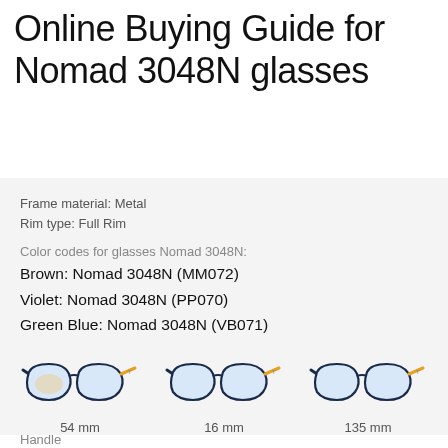Online Buying Guide for Nomad 3048N glasses
Frame material: Metal
Rim type: Full Rim
Color codes for glasses Nomad 3048N:
Brown: Nomad 3048N (MM072)
Violet: Nomad 3048N (PP070)
Green Blue: Nomad 3048N (VB071)
Size guide for glasses Nomad 3048N:
54-16-135
[Figure (illustration): Three views of Nomad 3048N glasses frames showing lens width (54mm), bridge width (16mm), and temple length (135mm)]
54 mm     16 mm     135 mm